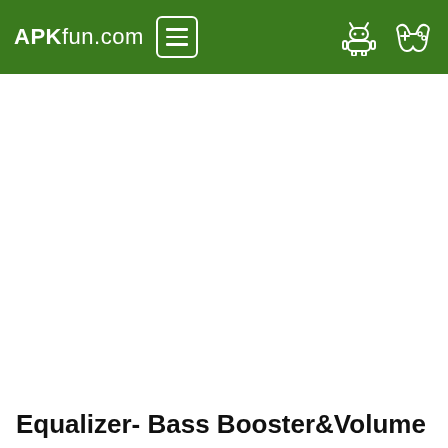APKfun.com
Equalizer- Bass Booster&Volume